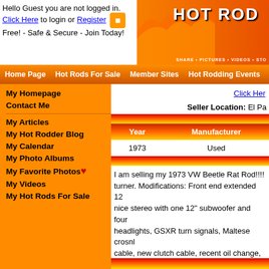Hello Guest you are not logged in. Click Here to login or Register Free! - Safe & Secure - Join Today! HOT ROD [site]
Home Page | Hot Rods For Sale | Member Sites | Hot Rodding Events
My Homepage
Contact Me
My Articles
My Hot Rodder Blog
My Calendar
My Photo Albums
My Favorite Photos
My Videos
My Hot Rods For Sale
Click Here
Seller Location: El Pa[so]
| Year | Manufacturer |
| --- | --- |
| 1973 | Used |
I am selling my 1973 VW Beetle Rat Rod!!!! turner. Modifications: Front end extended 12 nice stereo with one 12" subwoofer and four headlights, GSXR turn signals, Maltese crosnl... cable, new clutch cable, recent oil change, n... you are looking for a unique, fun, gas saver http://elpaso.en.craigslist.org/cto/410609819